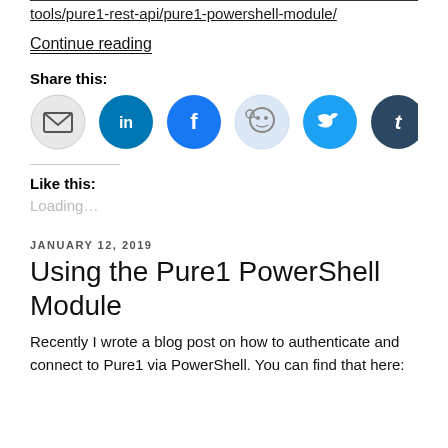tools/pure1-rest-api/pure1-powershell-module/
Continue reading
Share this:
[Figure (infographic): Six social sharing icon buttons in circles: Email (grey), LinkedIn (blue), Facebook (dark blue), Reddit (light blue), Twitter (cyan blue), Tumblr (dark navy)]
Like this:
Loading...
JANUARY 12, 2019
Using the Pure1 PowerShell Module
Recently I wrote a blog post on how to authenticate and connect to Pure1 via PowerShell. You can find that here: